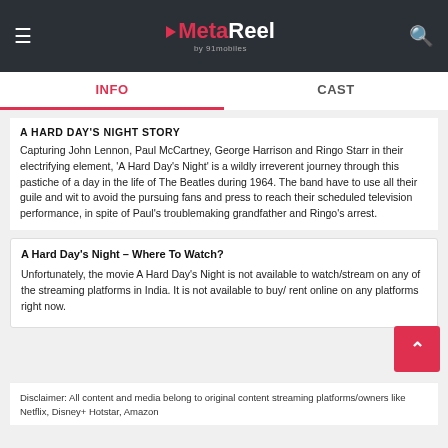MetaReel by 91mobiles
INFO | CAST
A HARD DAY'S NIGHT STORY
Capturing John Lennon, Paul McCartney, George Harrison and Ringo Starr in their electrifying element, 'A Hard Day's Night' is a wildly irreverent journey through this pastiche of a day in the life of The Beatles during 1964. The band have to use all their guile and wit to avoid the pursuing fans and press to reach their scheduled television performance, in spite of Paul's troublemaking grandfather and Ringo's arrest.
A Hard Day's Night – Where To Watch?
Unfortunately, the movie A Hard Day's Night is not available to watch/stream on any of the streaming platforms in India. It is not available to buy/ rent online on any platforms right now.
Disclaimer: All content and media belong to original content streaming platforms/owners like Netflix, Disney+ Hotstar, Amazon